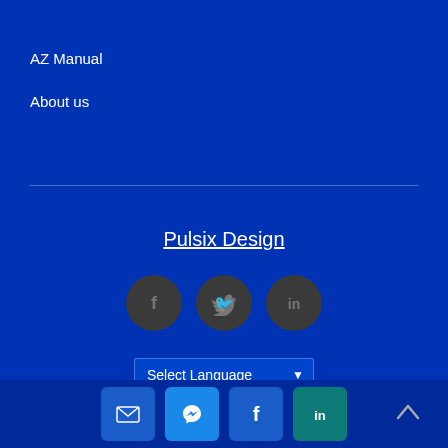AZ Manual
About us
Pulsix Design
[Figure (other): Three dark circular social media icons: Facebook (f), Twitter (bird), LinkedIn (in)]
[Figure (other): Select Language dropdown selector]
[Figure (other): Bottom bar with four colored square icons: email (envelope), Messenger, Facebook (f), LinkedIn (in), and a back-to-top chevron arrow on the right]